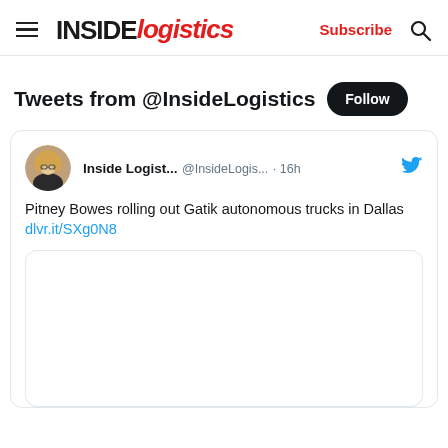INSIDE logistics — Subscribe
Tweets from @InsideLogistics
Inside Logist... @InsideLogis... · 16h — Pitney Bowes rolling out Gatik autonomous trucks in Dallas dlvr.it/SXg0N8
[Figure (screenshot): Embedded tweet card with linked article preview, border visible, content blank/cropped]